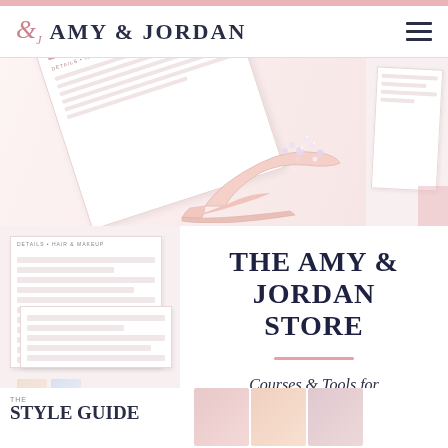Amy & Jordan
[Figure (photo): Photography of a bejeweled pink high heel shoe on top of printed planning documents with pink accents]
THE AMY & JORDAN STORE
Courses & Tools for Photographers
[Figure (photo): Bottom section showing a Style Guide booklet and thumbnail photos]